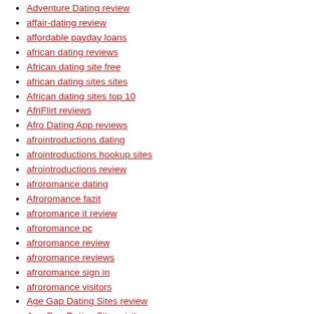Adventure Dating review
affair-dating review
affordable payday loans
african dating reviews
African dating site free
african dating sites sites
African dating sites top 10
AfriFlirt reviews
Afro Dating App reviews
afrointroductions dating
afrointroductions hookup sites
afrointroductions review
afroromance dating
Afroromance fazit
afroromance it review
afroromance pc
afroromance review
afroromance reviews
afroromance sign in
afroromance visitors
Age Gap Dating Sites review
Age Gap Dating Sites visitors
Airg app android
airg Combien la coste
airg pl reviews